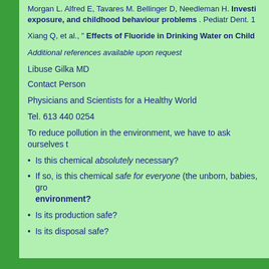Morgan L. Alfred E, Tavares M. Bellinger D, Needleman H. Investi exposure, and childhood behaviour problems . Pediatr Dent. 1
Xiang Q, et al., " Effects of Fluoride in Drinking Water on Child
Additional references available upon request
Libuse Gilka MD
Contact Person
Physicians and Scientists for a Healthy World
Tel. 613 440 0254
To reduce pollution in the environment, we have to ask ourselves t
Is this chemical absolutely necessary?
If so, is this chemical safe for everyone (the unborn, babies, gro environment?
Is its production safe?
Is its disposal safe?